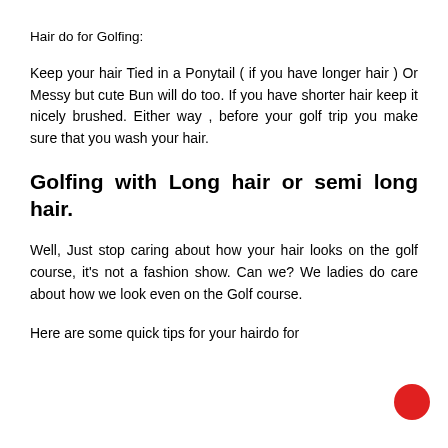Hair do for Golfing:
Keep your hair Tied in a Ponytail ( if you have longer hair ) Or Messy but cute Bun will do too. If you have shorter hair keep it nicely brushed. Either way , before your golf trip you make sure that you wash your hair.
Golfing with Long hair or semi long hair.
Well, Just stop caring about how your hair looks on the golf course, it's not a fashion show. Can we? We ladies do care about how we look even on the Golf course.
Here are some quick tips for your hairdo for